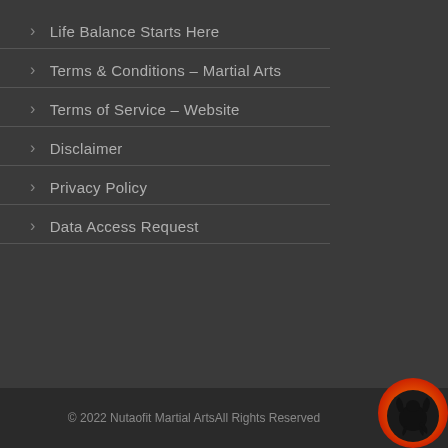> Life Balance Starts Here
> Terms & Conditions – Martial Arts
> Terms of Service – Website
> Disclaimer
> Privacy Policy
> Data Access Request
© 2022 Nutaofit Martial ArtsAll Rights Reserved
[Figure (logo): Nutaofit Martial Arts logo - circular emblem with black dragon on orange/red gradient background]